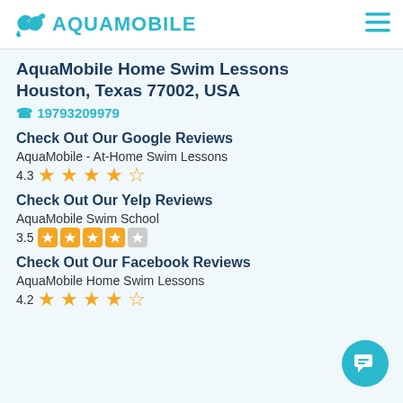AQUAMOBILE
AquaMobile Home Swim Lessons Houston, Texas 77002, USA
19793209979
Check Out Our Google Reviews
AquaMobile - At-Home Swim Lessons
4.3 (4.3 out of 5 stars - Google)
Check Out Our Yelp Reviews
AquaMobile Swim School
3.5 (3.5 out of 5 stars - Yelp)
Check Out Our Facebook Reviews
AquaMobile Home Swim Lessons
4.2 (4.2 out of 5 stars - Facebook)